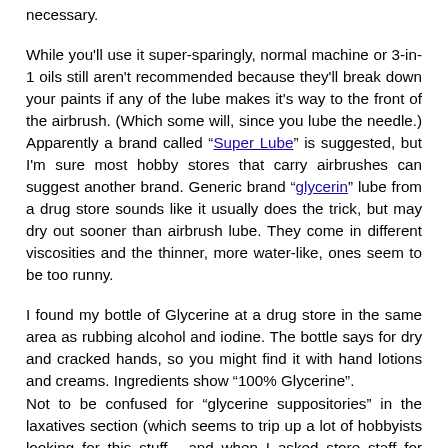necessary.
While you'll use it super-sparingly, normal machine or 3-in-1 oils still aren't recommended because they'll break down your paints if any of the lube makes it's way to the front of the airbrush. (Which some will, since you lube the needle.) Apparently a brand called "Super Lube" is suggested, but I'm sure most hobby stores that carry airbrushes can suggest another brand. Generic brand "glycerin" lube from a drug store sounds like it usually does the trick, but may dry out sooner than airbrush lube. They come in different viscosities and the thinner, more water-like, ones seem to be too runny.
I found my bottle of Glycerine at a drug store in the same area as rubbing alcohol and iodine. The bottle says for dry and cracked hands, so you might find it with hand lotions and creams. Ingredients show "100% Glycerine".
Not to be confused for "glycerine suppositories" in the laxatives section (which seems to trip up a lot of hobbyists looking for this stuff - and when I asked store staff for glycerine, they were only aware of the suppositories) or "other" lubes that drug stores sometimes carry.